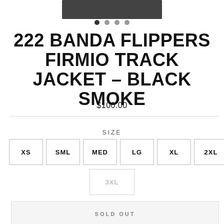[Figure (photo): Partial view of dark/black track jacket product image at top of page]
222 BANDA FLIPPERS FIRMIO TRACK JACKET – BLACK SMOKE
$100.00
SIZE
XS  SML  MED  LG  XL  2XL  [size filter icon]  3XL (disabled)
SOLD OUT
♡ ADD TO WISHLIST
KAPPA OMINI CLUB